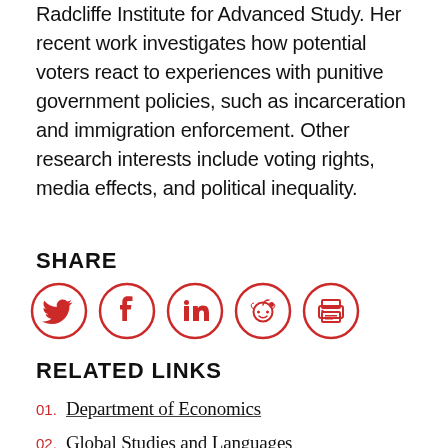Radcliffe Institute for Advanced Study. Her recent work investigates how potential voters react to experiences with punitive government policies, such as incarceration and immigration enforcement. Other research interests include voting rights, media effects, and political inequality.
SHARE
[Figure (infographic): Row of five social share icons (Twitter, Facebook, LinkedIn, Reddit, Print) rendered as red circles with white icons inside]
RELATED LINKS
01. Department of Economics
02. Global Studies and Languages